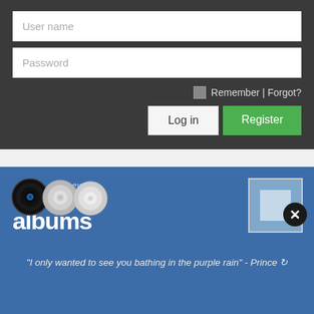[Figure (screenshot): Login form with User name and Password input fields on dark background]
User name
Password
Remember | Forgot?
Log in
Register
[Figure (logo): Best Ever Albums logo with vinyl and CD disc icons and text 'best ever albums' on blue banner]
"I only wanted to see you bathing in the purple rain" - Prince ↻